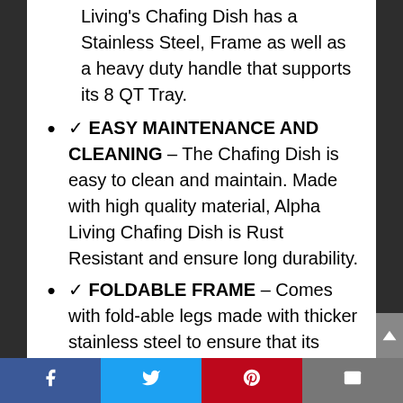Living's Chafing Dish has a Stainless Steel, Frame as well as a heavy duty handle that supports its 8 QT Tray.
✓ EASY MAINTENANCE AND CLEANING – The Chafing Dish is easy to clean and maintain. Made with high quality material, Alpha Living Chafing Dish is Rust Resistant and ensure long durability.
✓ FOLDABLE FRAME – Comes with fold-able legs made with thicker stainless steel to ensure that its frame is effective and your food is
Facebook | Twitter | Pinterest | Email